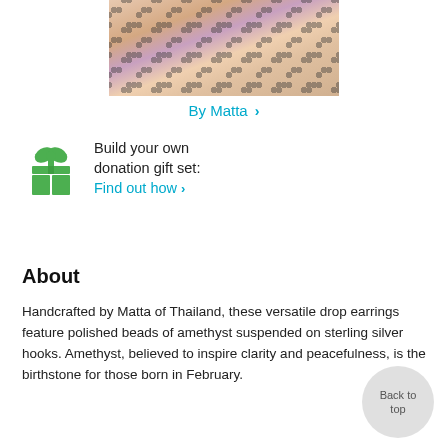[Figure (photo): Photo of Matta, a woman wearing a white polka-dot top and pearl necklace, cropped at top of page]
By Matta ›
[Figure (illustration): Green gift box icon]
Build your own donation gift set: Find out how ›
About
Handcrafted by Matta of Thailand, these versatile drop earrings feature polished beads of amethyst suspended on sterling silver hooks. Amethyst, believed to inspire clarity and peacefulness, is the birthstone for those born in February.